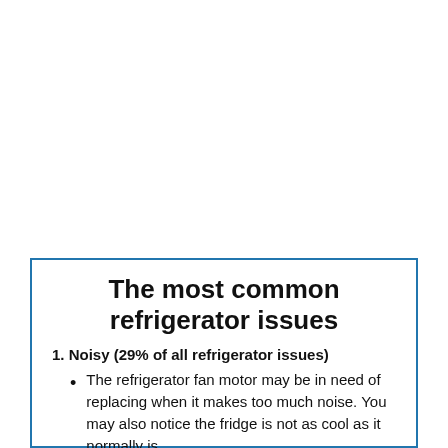The most common refrigerator issues
1. Noisy (29% of all refrigerator issues)
The refrigerator fan motor may be in need of replacing when it makes too much noise. You may also notice the fridge is not as cool as it normally is.